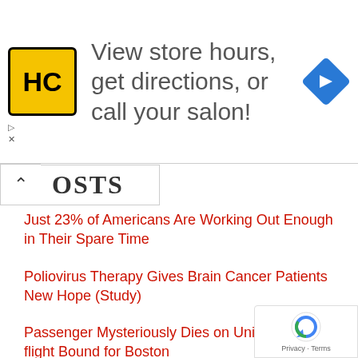[Figure (other): Advertisement banner with HC logo, text 'View store hours, get directions, or call your salon!' and a blue navigation arrow icon]
POSTS
Just 23% of Americans Are Working Out Enough in Their Spare Time
Poliovirus Therapy Gives Brain Cancer Patients New Hope (Study)
Passenger Mysteriously Dies on United Airlines flight Bound for Boston
Here Are Some Foods No